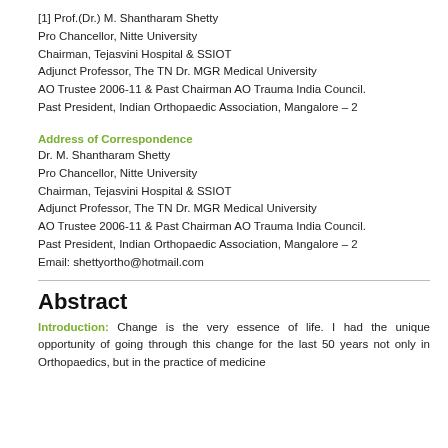[1] Prof.(Dr.) M. Shantharam Shetty
Pro Chancellor, Nitte University
Chairman, Tejasvini Hospital & SSIOT
Adjunct Professor, The TN Dr. MGR Medical University
AO Trustee 2006-11 & Past Chairman AO Trauma India Council.
Past President, Indian Orthopaedic Association, Mangalore – 2
Address of Correspondence
Dr. M. Shantharam Shetty
Pro Chancellor, Nitte University
Chairman, Tejasvini Hospital & SSIOT
Adjunct Professor, The TN Dr. MGR Medical University
AO Trustee 2006-11 & Past Chairman AO Trauma India Council.
Past President, Indian Orthopaedic Association, Mangalore – 2
Email: shettyortho@hotmail.com
Abstract
Introduction: Change is the very essence of life. I had the unique opportunity of going through this change for the last 50 years not only in Orthopaedics, but in the practice of medicine